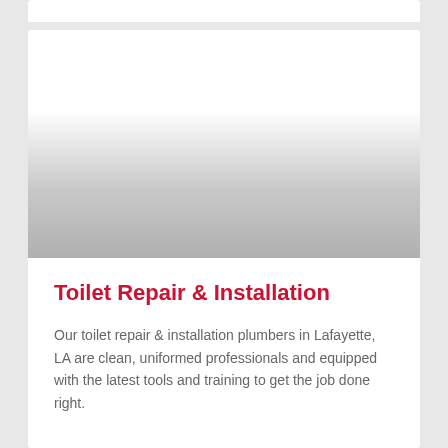[Figure (photo): Faded/gradient placeholder image area for toilet repair and installation service, showing a white-to-gray gradient suggesting a partially loaded or decorative image.]
Toilet Repair & Installation
Our toilet repair & installation plumbers in Lafayette, LA are clean, uniformed professionals and equipped with the latest tools and training to get the job done right.